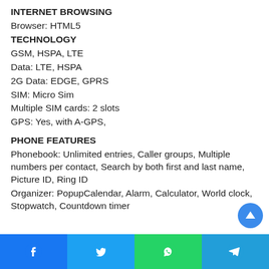INTERNET BROWSING
Browser: HTML5
TECHNOLOGY
GSM, HSPA, LTE
Data: LTE, HSPA
2G Data: EDGE, GPRS
SIM: Micro Sim
Multiple SIM cards: 2 slots
GPS: Yes, with A-GPS,
PHONE FEATURES
Phonebook: Unlimited entries, Caller groups, Multiple numbers per contact, Search by both first and last name, Picture ID, Ring ID
Organizer: PopupCalendar, Alarm, Calculator, World clock, Stopwatch, Countdown timer